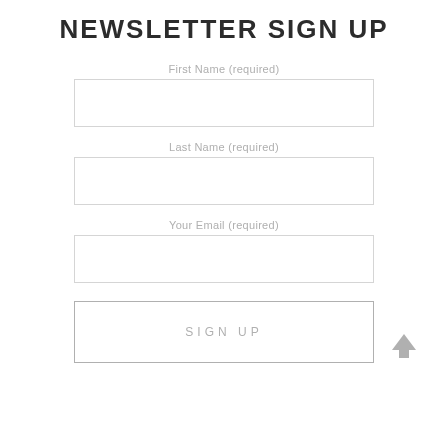NEWSLETTER SIGN UP
First Name (required)
Last Name (required)
Your Email (required)
SIGN UP
[Figure (illustration): Up arrow icon (scroll to top button) in gray]